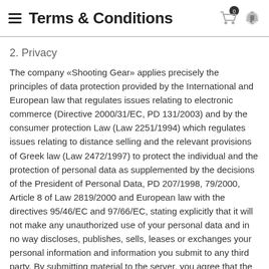Terms & Conditions
2. Privacy
The company «Shooting Gear» applies precisely the principles of data protection provided by the International and European law that regulates issues relating to electronic commerce (Directive 2000/31/EC, PD 131/2003) and by the consumer protection Law (Law 2251/1994) which regulates issues relating to distance selling and the relevant provisions of Greek law (Law 2472/1997) to protect the individual and the protection of personal data as supplemented by the decisions of the President of Personal Data, PD 207/1998, 79/2000, Article 8 of Law 2819/2000 and European law with the directives 95/46/EC and 97/66/EC, stating explicitly that it will not make any unauthorized use of your personal data and in no way discloses, publishes, sells, leases or exchanges your personal information and information you submit to any third party. By submitting material to the server, you agree that the material does not contain any untrue, illegal